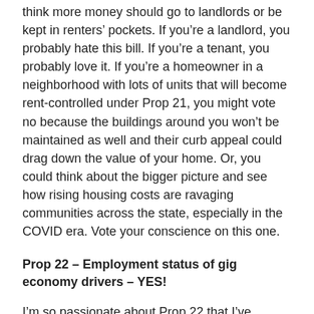think more money should go to landlords or be kept in renters' pockets. If you're a landlord, you probably hate this bill. If you're a tenant, you probably love it. If you're a homeowner in a neighborhood with lots of units that will become rent-controlled under Prop 21, you might vote no because the buildings around you won't be maintained as well and their curb appeal could drag down the value of your home. Or, you could think about the bigger picture and see how rising housing costs are ravaging communities across the state, especially in the COVID era. Vote your conscience on this one.
Prop 22 – Employment status of gig economy drivers – YES!
I'm so passionate about Prop 22 that I've written a separate post about it. See my thorough analysis here.